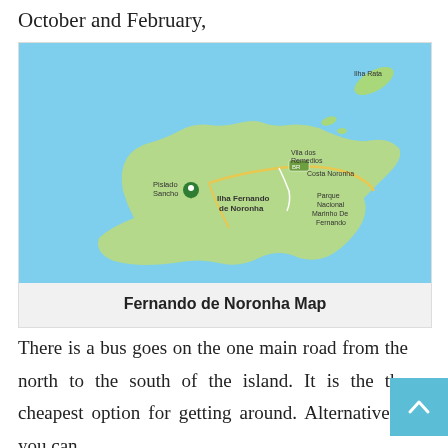October and February,
[Figure (map): Map of Fernando de Noronha island showing Ilha Rata to the northeast, Vila dos Remedios, Costa Noronha, Pislado Sancho with location pin, Ilha Fernando de Noronha label, Parque Nacional Marinho De Fernando, and road BR-363. Blue ocean background with green island shape.]
Fernando de Noronha Map
There is a bus goes on the one main road from the north to the south of the island. It is the the cheapest option for getting around. Alternatively, you can